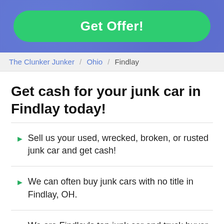[Figure (other): Green 'Get Offer!' button on a blue decorative background banner]
The Clunker Junker / Ohio / Findlay
Get cash for your junk car in Findlay today!
Sell us your used, wrecked, broken, or rusted junk car and get cash!
We can often buy junk cars with no title in Findlay, OH.
We are Findlay's top junk car and truck buyer.
If your broken down junk or used car's best days are